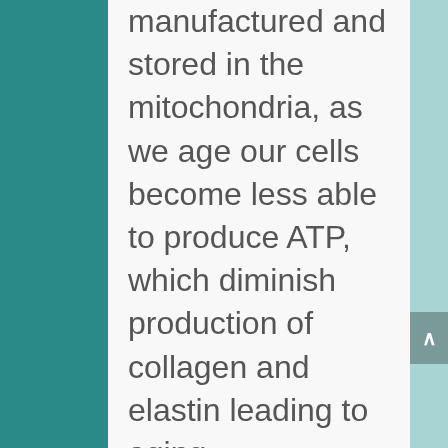manufactured and stored in the mitochondria, as we age our cells become less able to produce ATP, which diminish production of collagen and elastin leading to aging.
By actively producing ATP the POLY helps to restructure the elastin matrix in the skin, where fine lines and wrinkles